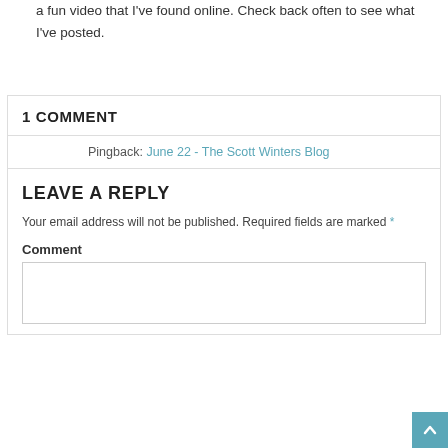a fun video that I've found online. Check back often to see what I've posted.
1 COMMENT
Pingback: June 22 - The Scott Winters Blog
LEAVE A REPLY
Your email address will not be published. Required fields are marked *
Comment